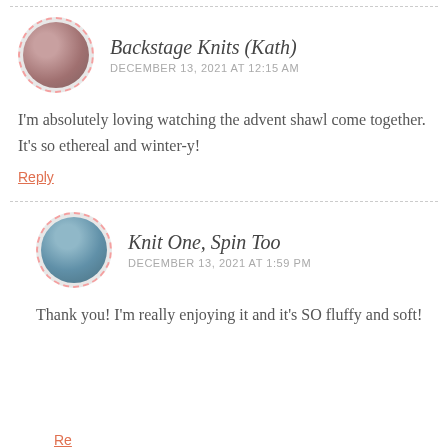[Figure (photo): Circular avatar photo of Backstage Knits (Kath) with dashed border]
Backstage Knits (Kath)
DECEMBER 13, 2021 AT 12:15 AM
I'm absolutely loving watching the advent shawl come together. It's so ethereal and winter-y!
Reply
[Figure (photo): Circular avatar photo of Knit One, Spin Too with dashed border]
Knit One, Spin Too
DECEMBER 13, 2021 AT 1:59 PM
Thank you! I'm really enjoying it and it's SO fluffy and soft!
Reply